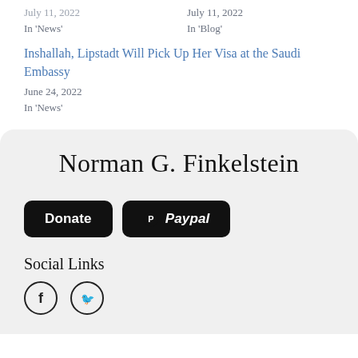In 'News'
July 11, 2022
In 'Blog'
Inshallah, Lipstadt Will Pick Up Her Visa at the Saudi Embassy
June 24, 2022
In 'News'
Norman G. Finkelstein
Donate
Paypal
Social Links